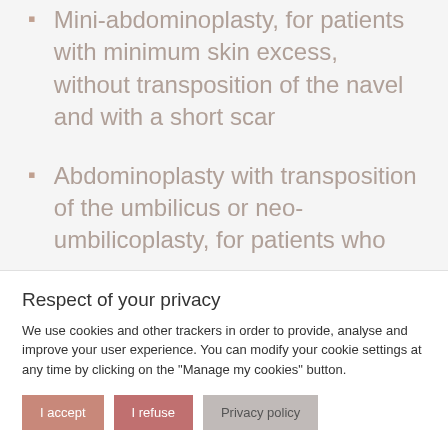Mini-abdominoplasty, for patients with minimum skin excess, without transposition of the navel and with a short scar
Abdominoplasty with transposition of the umbilicus or neo-umbilicoplasty, for patients who
Respect of your privacy
We use cookies and other trackers in order to provide, analyse and improve your user experience. You can modify your cookie settings at any time by clicking on the "Manage my cookies" button.